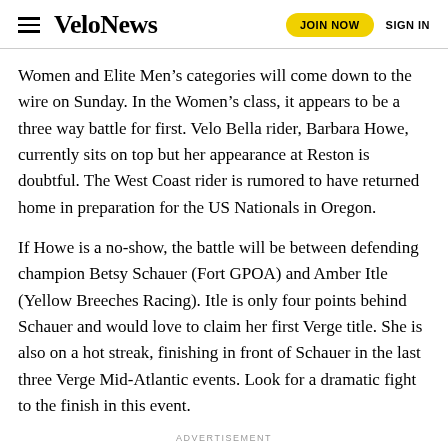VeloNews  JOIN NOW  SIGN IN
Women and Elite Men’s categories will come down to the wire on Sunday. In the Women’s class, it appears to be a three way battle for first. Velo Bella rider, Barbara Howe, currently sits on top but her appearance at Reston is doubtful. The West Coast rider is rumored to have returned home in preparation for the US Nationals in Oregon.
If Howe is a no-show, the battle will be between defending champion Betsy Schauer (Fort GPOA) and Amber Itle (Yellow Breeches Racing). Itle is only four points behind Schauer and would love to claim her first Verge title. She is also on a hot streak, finishing in front of Schauer in the last three Verge Mid-Atlantic events. Look for a dramatic fight to the finish in this event.
ADVERTISEMENT